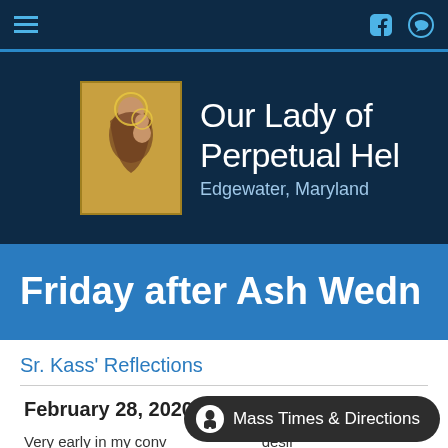Navigation bar with hamburger menu, Facebook and chat icons
[Figure (logo): Our Lady of Perpetual Help church header banner with icon of Mary and child Jesus. Text: Our Lady of Perpetual Help, Edgewater, Maryland]
Friday after Ash Wednesday
Sr. Kass' Reflections
February 28, 2020
Very early in my conv… desir… once got permission to sleep with out a pillow, I couldn'…